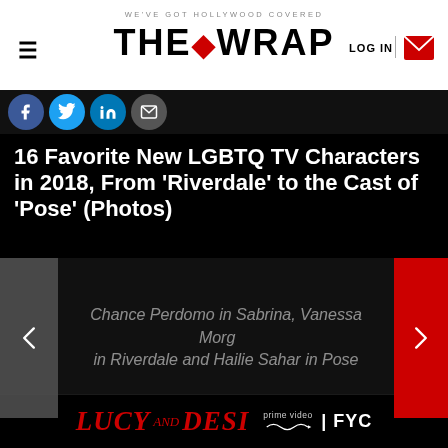WE'VE GOT HOLLYWOOD COVERED | THE WRAP | LOG IN
[Figure (screenshot): Social media sharing icons: Facebook, Twitter, LinkedIn, Email]
16 Favorite New LGBTQ TV Characters in 2018, From 'Riverdale' to the Cast of 'Pose' (Photos)
[Figure (photo): Slideshow with left and right navigation arrows. Caption reads: Chance Perdomo in Sabrina, Vanessa Morgan in Riverdale and Hailie Sahar in Pose. Source: Netflix, CW]
Chance Perdomo in Sabrina, Vanessa Morgan in Riverdale and Hailie Sahar in Pose
1 of 18
Ryan Murphy and Netflix have led the way in LGBTQ representation with shows like “American Horror Story” and “The Haunting of Hill House”
[Figure (infographic): Lucy and Desi Amazon Prime Video FYC advertisement banner]